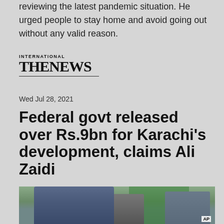reviewing the latest pandemic situation. He urged people to stay home and avoid going out without any valid reason.
INTERNATIONAL THE NEWS
Wed Jul 28, 2021
Federal govt released over Rs.9bn for Karachi's development, claims Ali Zaidi
[Figure (photo): Press conference photo showing Ali Zaidi and others wearing face masks at a podium with microphones]